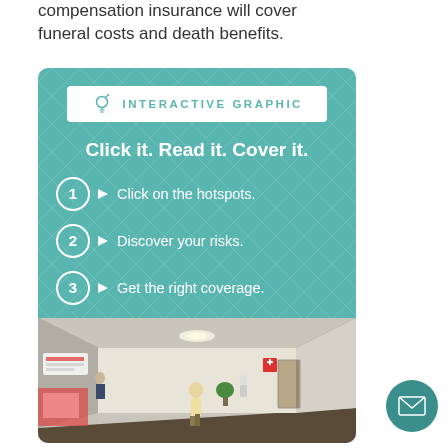compensation insurance will cover funeral costs and death benefits.
[Figure (infographic): Interactive graphic box with teal diamond-pattern background. Contains badge reading 'INTERACTIVE GRAPHIC', tagline 'Click it. Read it. Cover it.' and three numbered steps: 1. Click on the hotspots. 2. Discover your risks. 3. Get the right coverage. Below is a photo of a hospital corridor.]